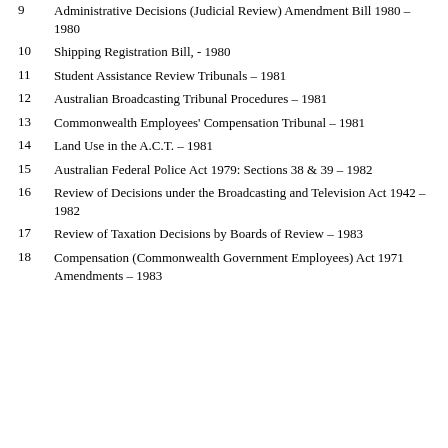9 Administrative Decisions (Judicial Review) Amendment Bill 1980 – 1980
10 Shipping Registration Bill, - 1980
11 Student Assistance Review Tribunals – 1981
12 Australian Broadcasting Tribunal Procedures – 1981
13 Commonwealth Employees' Compensation Tribunal – 1981
14 Land Use in the A.C.T. – 1981
15 Australian Federal Police Act 1979: Sections 38 & 39 – 1982
16 Review of Decisions under the Broadcasting and Television Act 1942 – 1982
17 Review of Taxation Decisions by Boards of Review – 1983
18 Compensation (Commonwealth Government Employees) Act 1971 Amendments – 1983